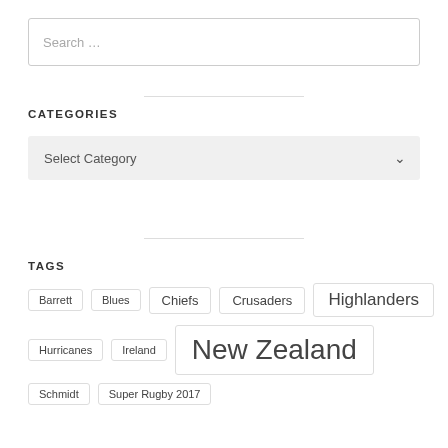[Figure (screenshot): Search input box with placeholder text 'Search ...']
CATEGORIES
[Figure (screenshot): Dropdown select box with 'Select Category' placeholder and a chevron down arrow]
TAGS
Barrett
Blues
Chiefs
Crusaders
Highlanders
Hurricanes
Ireland
New Zealand
Schmidt
Super Rugby 2017